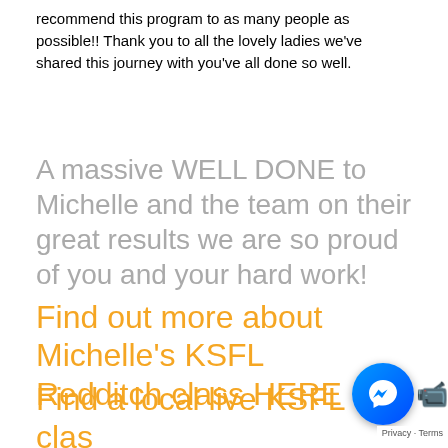recommend this program to as many people as possible!! Thank you to all the lovely ladies we've shared this journey with you've all done so well.
A massive WELL DONE to Michelle and the team on their great results we are so proud of you and your hard work!
Find out more about Michelle's KSFL Redditch class HERE
Find a local live KSFL class near you HERE